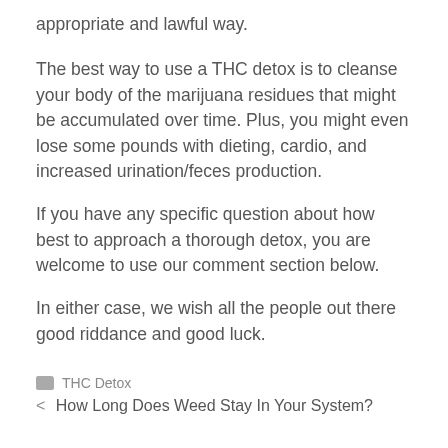appropriate and lawful way.
The best way to use a THC detox is to cleanse your body of the marijuana residues that might be accumulated over time. Plus, you might even lose some pounds with dieting, cardio, and increased urination/feces production.
If you have any specific question about how best to approach a thorough detox, you are welcome to use our comment section below.
In either case, we wish all the people out there good riddance and good luck.
THC Detox
< How Long Does Weed Stay In Your System?